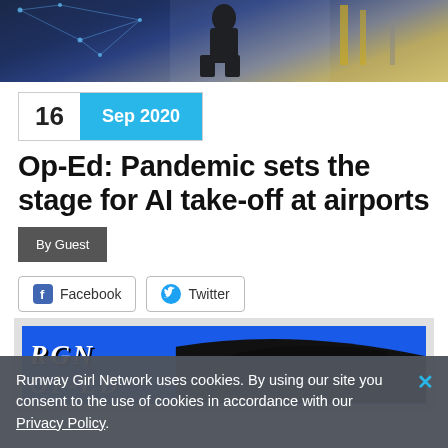[Figure (photo): Hero image of a person sitting at an airport terminal window with technology/network overlay graphics and yellow construction equipment visible outside]
16  Sep 2020
Op-Ed: Pandemic sets the stage for AI take-off at airports
By Guest
Facebook  Twitter
[Figure (illustration): Runway Girl Network Op-Ed banner image with blue background and black airplane silhouette, text reads 'RGN OP-ED']
Runway Girl Network uses cookies. By using our site you consent to the use of cookies in accordance with our Privacy Policy.